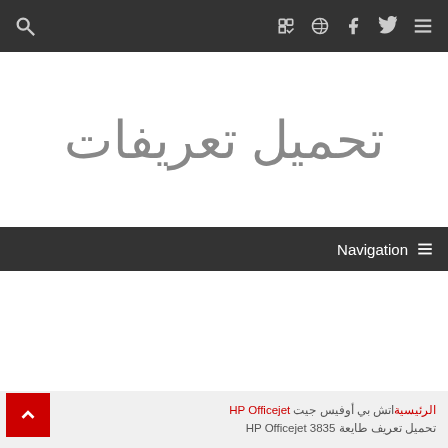Navigation icons: search, foursquare, dribbble, facebook, twitter, menu
تحميل تعريفات
Navigation ≡
الرئيسية‌اتش بي أوفيس جيت HP Officejet
تحميل تعريف طايعة HP Officejet 3835
تحميل تعريف طايعة HP